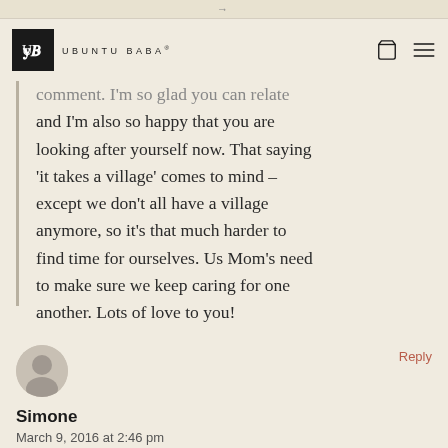→
[Figure (logo): Ubuntu Baba logo with UB monogram in black square and brand name text]
comment. I'm so glad you can relate and I'm also so happy that you are looking after yourself now. That saying 'it takes a village' comes to mind – except we don't all have a village anymore, so it's that much harder to find time for ourselves. Us Mom's need to make sure we keep caring for one another. Lots of love to you!
[Figure (illustration): Generic user avatar silhouette icon]
Reply
Simone
March 9, 2016 at 2:46 pm